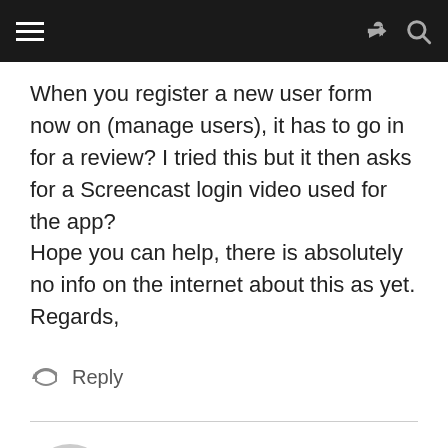Navigation bar with hamburger menu, share, and search icons
When you register a new user form now on (manage users), it has to go in for a review? I tried this but it then asks for a Screencast login video used for the app?
Hope you can help, there is absolutely no info on the internet about this as yet.
Regards,
Reply
Greg
January 4, 2016 at 10:56 pm
Hello There,